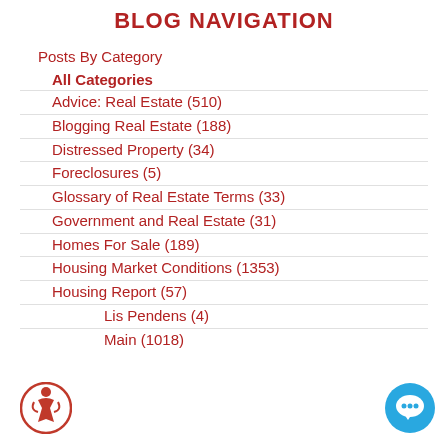BLOG NAVIGATION
Posts By Category
All Categories
Advice: Real Estate  (510)
Blogging Real Estate  (188)
Distressed Property  (34)
Foreclosures  (5)
Glossary of Real Estate Terms  (33)
Government and Real Estate  (31)
Homes For Sale  (189)
Housing Market Conditions  (1353)
Housing Report  (57)
Lis Pendens  (4)
Main  (1018)